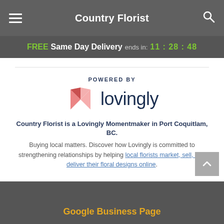Country Florist
FREE Same Day Delivery ends in: 11:28:48
[Figure (logo): Lovingly logo with pink heart/book icon and the word 'lovingly' in dark navy text, preceded by 'POWERED BY' label]
Country Florist is a Lovingly Momentmaker in Port Coquitlam, BC. Buying local matters. Discover how Lovingly is committed to strengthening relationships by helping local florists market, sell, and deliver their floral designs online.
Google Business Page